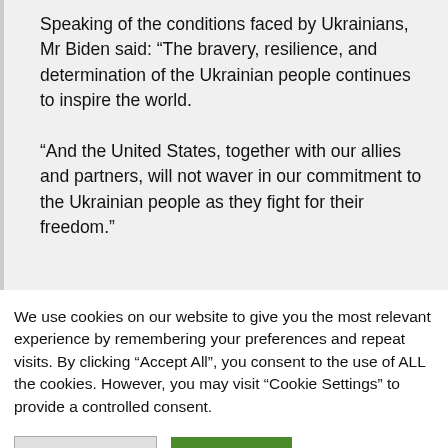Speaking of the conditions faced by Ukrainians, Mr Biden said: “The bravery, resilience, and determination of the Ukrainian people continues to inspire the world.

“And the United States, together with our allies and partners, will not waver in our commitment to the Ukrainian people as they fight for their freedom.”
We use cookies on our website to give you the most relevant experience by remembering your preferences and repeat visits. By clicking “Accept All”, you consent to the use of ALL the cookies. However, you may visit “Cookie Settings” to provide a controlled consent.
Cookie Settings | Accept All